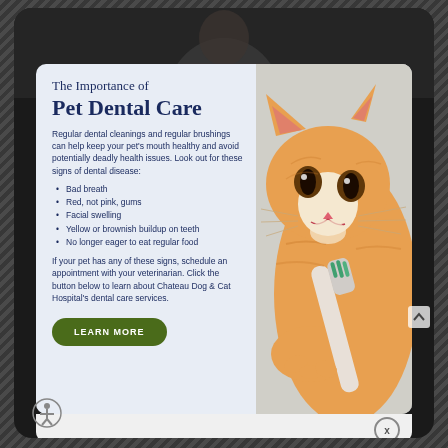The Importance of Pet Dental Care
Regular dental cleanings and regular brushings can help keep your pet's mouth healthy and avoid potentially deadly health issues. Look out for these signs of dental disease:
Bad breath
Red, not pink, gums
Facial swelling
Yellow or brownish buildup on teeth
No longer eager to eat regular food
If your pet has any of these signs, schedule an appointment with your veterinarian. Click the button below to learn about Chateau Dog & Cat Hospital's dental care services.
[Figure (photo): Orange tabby cat holding a toothbrush with its paw, white background]
LEARN MORE